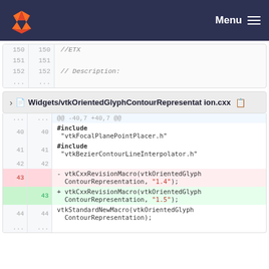GitLab navigation bar with Menu
| old | new | code |
| --- | --- | --- |
| 150 | 150 | //ETX |
| 151 | 151 |  |
| 152 | 152 | // Description: |
| ... | ... |  |
Widgets/vtkOrientedGlyphContourRepresentation.cxx
| old | new | code |
| --- | --- | --- |
| ... | ... | @@ -40,7 +40,7 @@ |
| 40 | 40 | #include "vtkFocalPlanePointPlacer.h" |
| 41 | 41 | #include "vtkBezierContourLineInterpolator.h" |
| 42 | 42 |  |
| 43 |  | - vtkCxxRevisionMacro(vtkOrientedGlyphContourRepresentation, "1.4"); |
|  | 43 | + vtkCxxRevisionMacro(vtkOrientedGlyphContourRepresentation, "1.5"); |
| 44 | 44 | vtkStandardNewMacro(vtkOrientedGlyphContourRepresentation); |
| 45 | 45 |  |